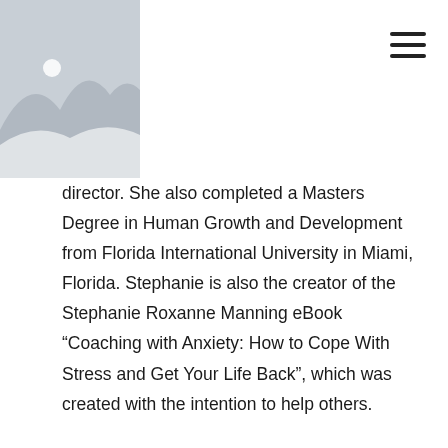[Figure (illustration): Placeholder image with grey background showing stylized mountains/hills and a white dot representing the sun, positioned in the top-left header area]
director. She also completed a Masters Degree in Human Growth and Development from Florida International University in Miami, Florida. Stephanie is also the creator of the Stephanie Roxanne Manning eBook “Coaching with Anxiety: How to Cope With Stress and Get Your Life Back”, which was created with the intention to help others.

Stephanie started coaching people to overcome fears, to improve communication, and to enhance personal growth when she was just starting out as a